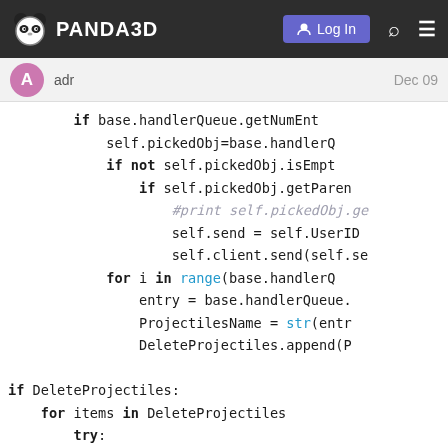PANDA3D — Log In navigation bar
adr  Dec 09
[Figure (screenshot): Code snippet showing Python code with if/for blocks referencing base.handlerQueue, self.pickedObj, self.send, self.client, DeleteProjectiles, and range/str builtins. Includes commented lines with #print.]